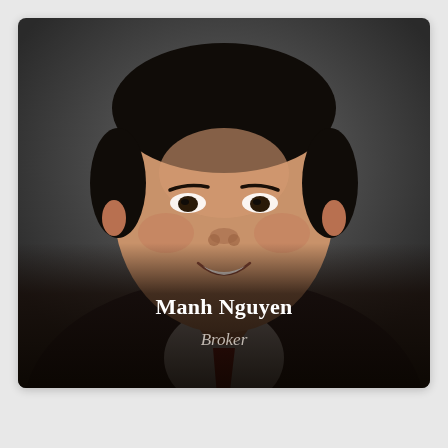[Figure (photo): Professional headshot of a young Asian man in a dark suit with a red tie, smiling at the camera against a dark grey studio background.]
Manh Nguyen
Broker